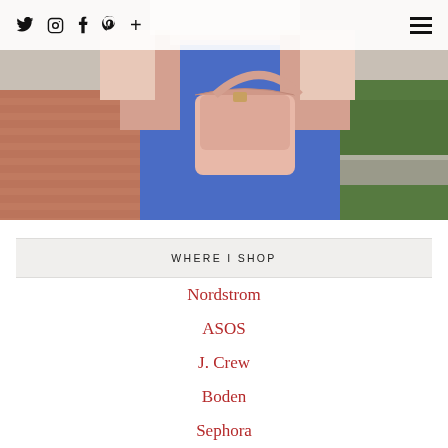Twitter Instagram Facebook Pinterest + [hamburger menu]
[Figure (photo): Fashion lifestyle photo: woman wearing a blue dress and holding a dusty pink/blush leather crossbody handbag with a gold clasp, wearing a pink coat. Brick pavement and green foliage visible in background.]
WHERE I SHOP
Nordstrom
ASOS
J. Crew
Boden
Sephora